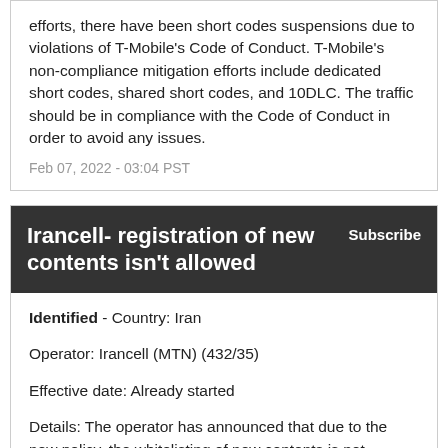efforts, there have been short codes suspensions due to violations of T-Mobile's Code of Conduct. T-Mobile's non-compliance mitigation efforts include dedicated short codes, shared short codes, and 10DLC. The traffic should be in compliance with the Code of Conduct in order to avoid any issues.
Feb 07, 2022 - 03:04 PST
Irancell- registration of new contents isn't allowed
Subscribe
Identified - Country: Iran
Operator: Irancell (MTN) (432/35)
Effective date: Already started
Details: The operator has announced that due to the new policy, the whitelisting of new contents is not allowed.